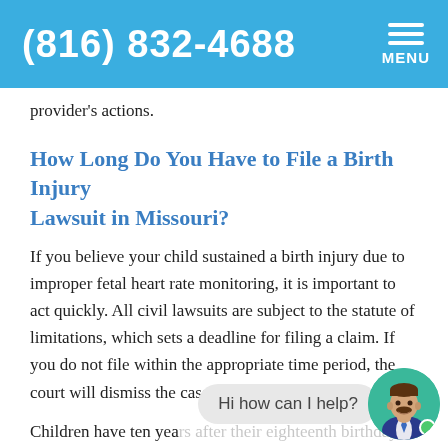(816) 832-4688  MENU
provider's actions.
How Long Do You Have to File a Birth Injury Lawsuit in Missouri?
If you believe your child sustained a birth injury due to improper fetal heart rate monitoring, it is important to act quickly. All civil lawsuits are subject to the statute of limitations, which sets a deadline for filing a claim. If you do not file within the appropriate time period, the court will dismiss the case.
Children have ten yea... ...heir two years from their eighteenth birthday to file a
[Figure (illustration): Chat widget with a speech bubble saying 'Hi how can I help?' and a circular avatar of a man in a suit with a mustache on a teal/green background, with a green online indicator dot.]